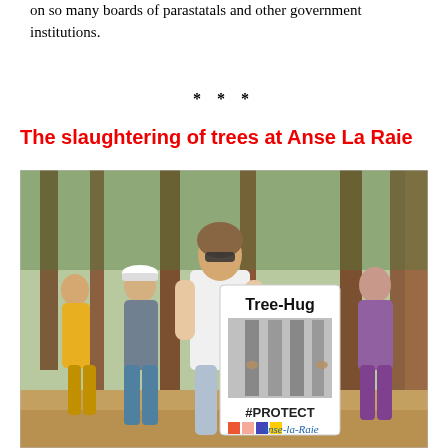on so many boards of parastatals and other government institutions.
* * *
The slaughtering of trees at Anse La Raie
[Figure (photo): Protest at Anse La Raie forest: a woman in sunglasses holds a sign reading 'Tree-Hug #PROTECT Anse-la-Raie' with an image of someone hugging a tree. Behind her, other protesters are visible hugging trees. The setting is a pine forest.]